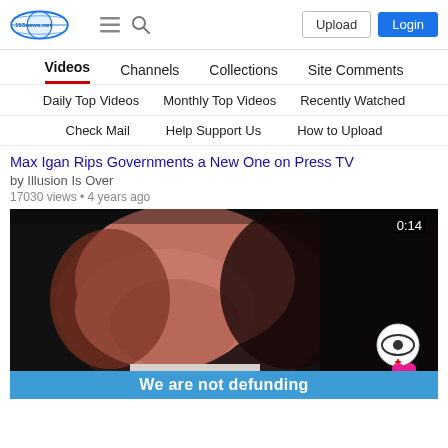153news.net — Upload | Login
Videos | Channels | Collections | Site Comments
Daily Top Videos | Monthly Top Videos | Recently Watched
Check Mail | Help Support Us | How to Upload
Max Igan Rips Governments a New One on Press TV
by Illusion Is Over
17030 views • 4 years ago
[Figure (screenshot): Video thumbnail showing a close-up of a man's face with a CBS logo and heart icon overlay, and a blue caption bar reading 'We are not defunding' at the bottom. Video duration 0:14 shown in upper right.]